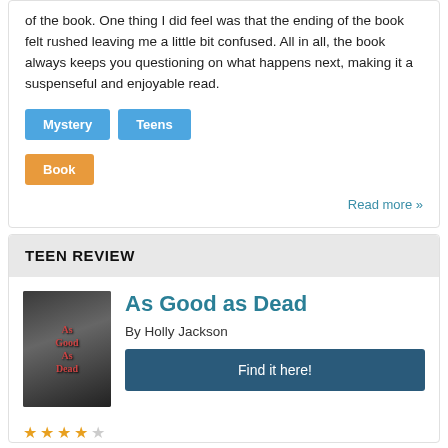of the book. One thing I did feel was that the ending of the book felt rushed leaving me a little bit confused. All in all, the book always keeps you questioning on what happens next, making it a suspenseful and enjoyable read.
Mystery
Teens
Book
Read more »
TEEN REVIEW
[Figure (photo): Book cover of 'As Good as Dead' by Holly Jackson, dark background with red text]
As Good as Dead
By Holly Jackson
Find it here!